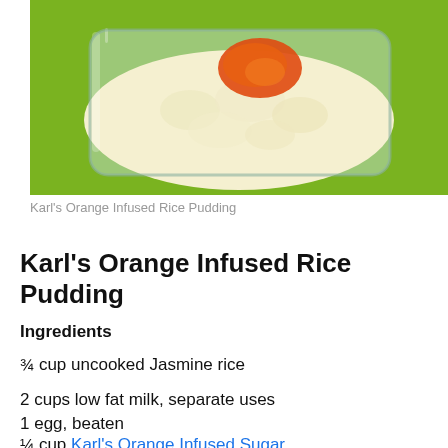[Figure (photo): A glass dish containing rice pudding topped with a red-orange sauce/jam, placed on a bright green background.]
Karl's Orange Infused Rice Pudding
Karl's Orange Infused Rice Pudding
Ingredients
¾ cup uncooked Jasmine rice
2 cups low fat milk, separate uses
1 egg, beaten
¼ cup Karl's Orange Infused Sugar